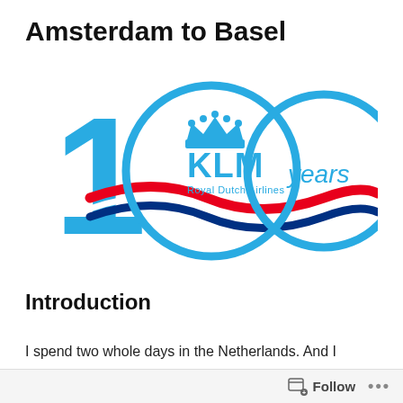Amsterdam to Basel
[Figure (logo): KLM Royal Dutch Airlines 100 years logo. A large blue '1' on the left, a blue circle in the middle containing the KLM crown logo and 'KLM Royal Dutch Airlines' text, and a blue circle on the right with 'years' text. Dutch flag ribbon (red, white, blue) weaves through the circles.]
Introduction
I spend two whole days in the Netherlands. And I
Follow ...